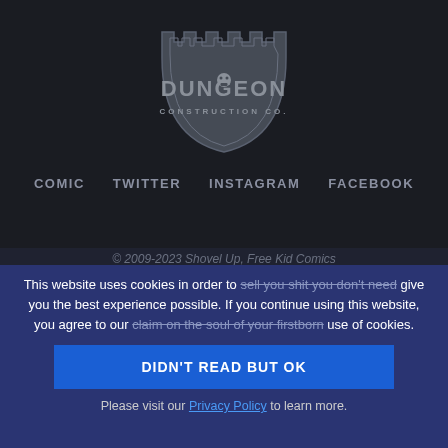[Figure (logo): Dungeon Construction Co. logo — a shield/crest shape with castle battlements, grey on dark background]
COMIC   TWITTER   INSTAGRAM   FACEBOOK
© 2009-2023 Shovel Up, Free Kid Comics
This website uses cookies in order to sell you shit you don't need give you the best experience possible. If you continue using this website, you agree to our claim on the soul of your firstborn use of cookies.
DIDN'T READ BUT OK
Please visit our Privacy Policy to learn more.